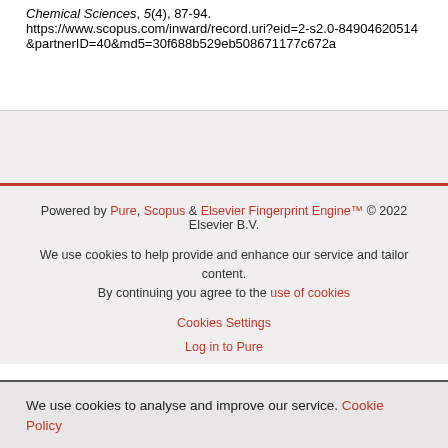Chemical Sciences, 5(4), 87-94. https://www.scopus.com/inward/record.uri?eid=2-s2.0-84904620514&partnerID=40&md5=30f688b529eb508671177c672a2
Powered by Pure, Scopus & Elsevier Fingerprint Engine™ © 2022 Elsevier B.V.
We use cookies to help provide and enhance our service and tailor content. By continuing you agree to the use of cookies
Cookies Settings
Log in to Pure
We use cookies to analyse and improve our service. Cookie Policy